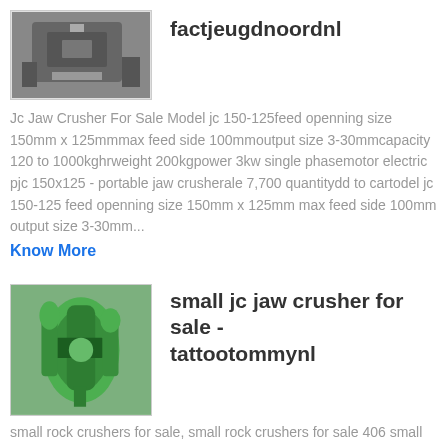[Figure (photo): Thumbnail image of industrial crusher machinery]
factjeugdnoordnl
Jc Jaw Crusher For Sale Model jc 150-125feed openning size 150mm x 125mmmax feed side 100mmoutput size 3-30mmcapacity 120 to 1000kghrweight 200kgpower 3kw single phasemotor electric pjc 150x125 - portable jaw crusherale 7,700 quantitydd to cartodel jc 150-125 feed openning size 150mm x 125mm max feed side 100mm output size 3-30mm...
Know More
[Figure (photo): Thumbnail image of green jaw crusher machinery]
small jc jaw crusher for sale - tattootommynl
small rock crushers for sale, small rock crushers for sale 406 small rock crushers for sale products are offered for sale by suppliers on Alibaba, of which crusher accounts for 55%, mining machinery parts accounts for 1%, and other mining...